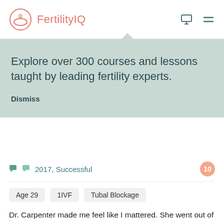FertilityIQ
Explore over 300 courses and lessons taught by leading fertility experts.
Dismiss
2017, Successful
Age 29  1IVF  Tubal Blockage
Dr. Carpenter made me feel like I mattered. She went out of her way to make sure I understood what was going on. She emailed me and updated me personally